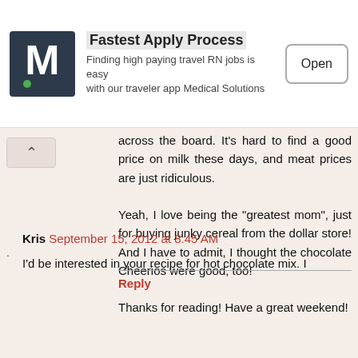[Figure (screenshot): Advertisement banner for Medical Solutions app showing logo with letter M, text 'Fastest Apply Process', description about travel RN jobs, and an Open button]
across the board. It's hard to find a good price on milk these days, and meat prices are just ridiculous.

Yeah, I love being the "greatest mom", just for buying junky cereal from the dollar store! And I have to admit, I thought the chocolate Cheerios were good, too!

Thanks for reading! Have a great weekend!
Reply
Kris September 15, 2012 at 8:45 AM
I'd be interested in your recipe for hot chocolate mix. I